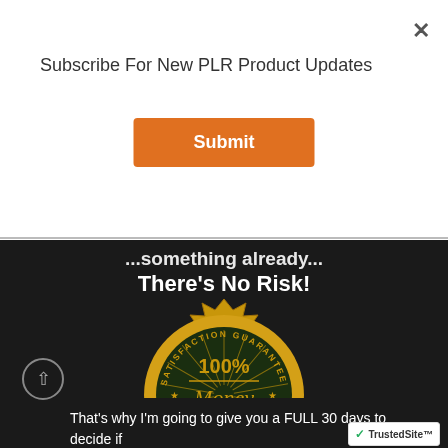Subscribe For New PLR Product Updates
[Figure (other): Orange Submit button]
There's No Risk!
[Figure (illustration): 100% Money Back Satisfaction Guarantee gold seal badge]
That's why I'm going to give you a FULL 30 days to decide if
[Figure (logo): TrustedSite badge with green checkmark]